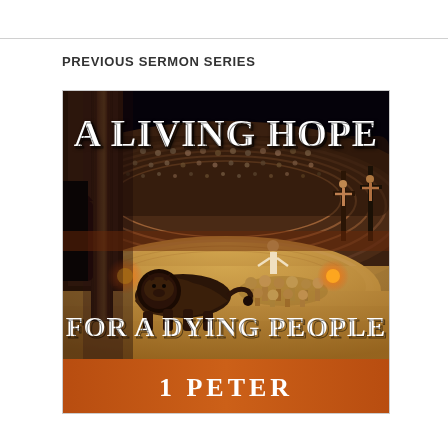PREVIOUS SERMON SERIES
[Figure (illustration): Sermon series cover image depicting a Roman colosseum arena with a lion in the foreground, a group of people huddled together in the background, stone pillars on the left, crosses visible on the right wall, and a dark dramatic sky. Text overlays read 'A LIVING HOPE' at the top and 'FOR A DYING PEOPLE' above an orange banner reading '1 PETER'.]